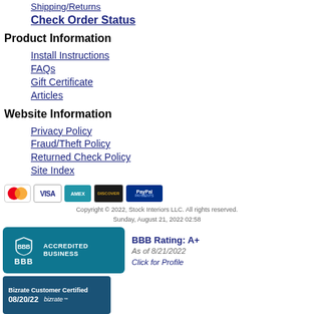Shipping/Returns
Check Order Status
Product Information
Install Instructions
FAQs
Gift Certificate
Articles
Website Information
Privacy Policy
Fraud/Theft Policy
Returned Check Policy
Site Index
[Figure (logo): Payment method logos: MasterCard, Visa, American Express, Discover, PayPal Payments]
Copyright © 2022, Stock Interiors LLC. All rights reserved. Sunday, August 21, 2022 02:58
[Figure (logo): BBB Accredited Business badge with BBB Rating: A+, As of 8/21/2022, Click for Profile]
[Figure (logo): Bizrate Customer Certified badge, 08/20/22]